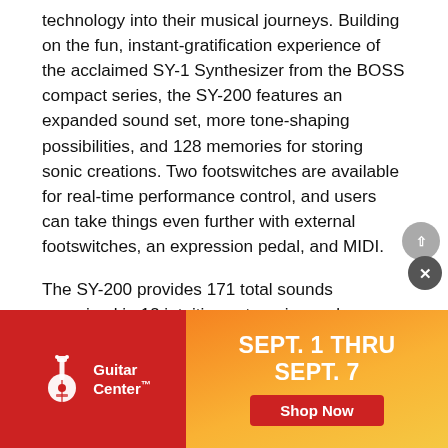technology into their musical journeys. Building on the fun, instant-gratification experience of the acclaimed SY-1 Synthesizer from the BOSS compact series, the SY-200 features an expanded sound set, more tone-shaping possibilities, and 128 memories for storing sonic creations. Two footswitches are available for real-time performance control, and users can take things even further with external footswitches, an expression pedal, and MIDI.
The SY-200 provides 171 total sounds organized in 12 intuitive categories and adjustable parameters for customizing the tone and response. Calling up great sounds is quick and easy, thanks to the informative display and hands-on controls. The SY-200 can be used with a[n] ... e, and select[ed] ... h engine[...]
[Figure (infographic): Guitar Center advertisement banner. Red section on left with Guitar Center logo (guitar icon and text). Orange-to-yellow gradient section on right with bold white text reading 'SEPT. 1 THRU SEPT. 7' and a red 'Shop Now' button.]